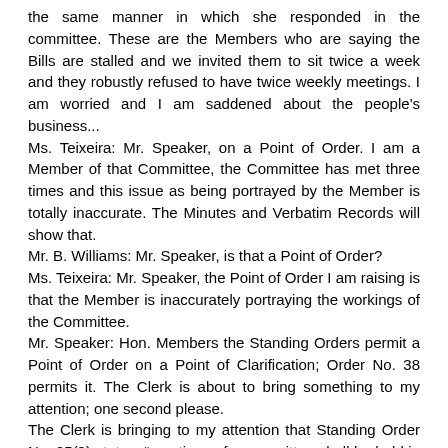the same manner in which she responded in the committee.  These are the Members who are saying the Bills are stalled and we invited them to sit twice a week and they robustly refused to have twice weekly meetings. I am worried and I am saddened about the people's business...
Ms. Teixeira: Mr. Speaker, on a Point of Order. I am a Member of that Committee, the Committee has met three times and this issue as being portrayed by the Member is totally inaccurate. The Minutes and Verbatim Records will show that.
Mr. B. Williams: Mr. Speaker, is that a Point of Order?
Ms. Teixeira: Mr. Speaker, the Point of Order I am raising is that the Member is inaccurately portraying the workings of the Committee.
Mr. Speaker: Hon. Members the Standing Orders permit a Point of Order on a Point of Clarification; Order No. 38 permits it. The Clerk is about to bring something to my attention; one second please.
The Clerk is bringing to my attention that Standing Order No. 95(9) states, “meetings of a committee shall be held in private”.
Mr. B. Williams: Mr. Speaker does the Clerk state that it could be suspended by a vote of the committee?
Could the Clerk confirm that the rule could be suspended by a vote of the committee?
Mr. Speaker: We will have to take that, to use an American term, on advisement, and do some research. It may require the House doing